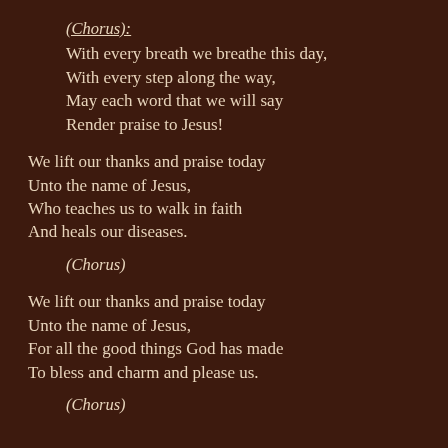(Chorus):
With every breath we breathe this day,
With every step along the way,
May each word that we will say
Render praise to Jesus!
We lift our thanks and praise today
Unto the name of Jesus,
Who teaches us to walk in faith
And heals our diseases.
(Chorus)
We lift our thanks and praise today
Unto the name of Jesus,
For all the good things God has made
To bless and charm and please us.
(Chorus)